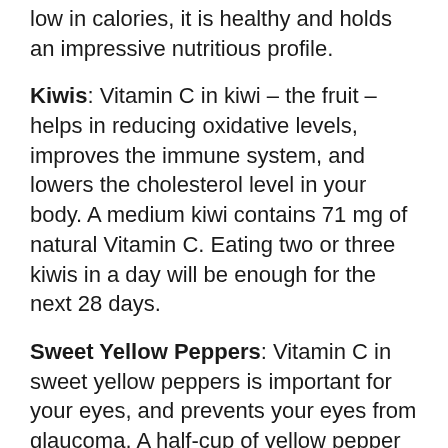low in calories, it is healthy and holds an impressive nutritious profile.
Kiwis: Vitamin C in kiwi – the fruit – helps in reducing oxidative levels, improves the immune system, and lowers the cholesterol level in your body. A medium kiwi contains 71 mg of natural Vitamin C. Eating two or three kiwis in a day will be enough for the next 28 days.
Sweet Yellow Peppers: Vitamin C in sweet yellow peppers is important for your eyes, and prevents your eyes from glaucoma. A half-cup of yellow pepper contains 37 mg of Vitamin C which is double the amount of Vitamin C present in the green pepper.
Vitamin C regular intake can be effective, and brings drastic positive changes in your body.